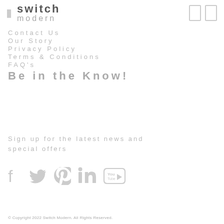switch modern
Contact Us
Our Story
Privacy Policy
Terms & Conditions
FAQ's
Be in the Know!
Sign up for the latest news and special offers
[Figure (other): Social media icons row: Facebook, Twitter, Pinterest, LinkedIn, YouTube]
© Copyright 2022 Switch Modern. All Rights Reserved.